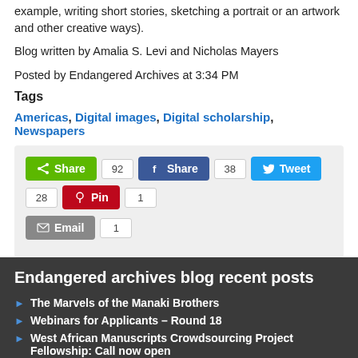example, writing short stories, sketching a portrait or an artwork and other creative ways).
Blog written by Amalia S. Levi and Nicholas Mayers
Posted by Endangered Archives at 3:34 PM
Tags
Americas, Digital images, Digital scholarship, Newspapers
[Figure (infographic): Social sharing buttons: Share (92), Share (38), Tweet (28), Pin (1), Email (1)]
Endangered archives blog recent posts
The Marvels of the Manaki Brothers
Webinars for Applicants – Round 18
West African Manuscripts Crowdsourcing Project Fellowship: Call now open